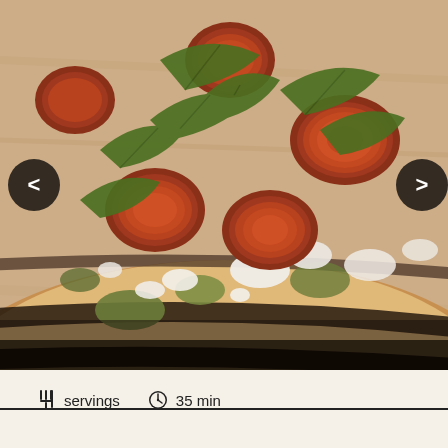[Figure (photo): Close-up photo of a grilled flatbread pizza topped with sliced sausage/chorizo, crumbled white cheese (goat cheese or ricotta), fresh arugula leaves, and pesto or olive tapenade. The flatbread has visible grill marks and char. Navigation arrows (< and >) appear on left and right sides of the photo.]
servings   35 min